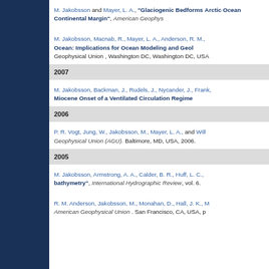[Figure (other): Dark navy blue sidebar panel on the left side of the page]
M. Jakobsson and Mayer, L. A., "Glaciogenic Bedforms... Arctic Ocean Continental Margin", American Geophysical Union...
M. Jakobsson, Macnab, R., Mayer, L. A., Anderson, R. M., ... Ocean: Implications for Ocean Modeling and Geol... Geophysical Union, Washington DC, Washington DC, USA
2007
M. Jakobsson, Backman, J., Rudels, J., Nycander, J., Frank,... Miocene Onset of a Ventilated Circulation Regime...
2006
P. R. Vogt, Jung, W., Jakobsson, M., Mayer, L. A., and Will... Geophysical Union (AGU). Baltimore, MD, USA, 2006.
2005
M. Jakobsson, Armstrong, A. A., Calder, B. R., Huff, L. C.,... "bathymetry", International Hydrographic Review, vol. 6.
R. M. Anderson, Jakobsson, M., Monahan, D., Hall, J. K., M... American Geophysical Union. San Francisco, CA, USA, p...